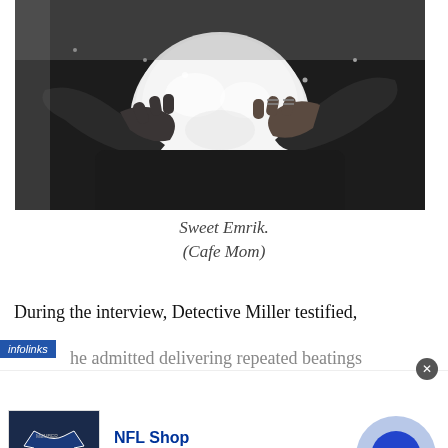[Figure (photo): Black and white photo of a person in dark winter clothing holding a large snowball with both gloved hands]
Sweet Emrik.
(Cafe Mom)
During the interview, Detective Miller testified,
he admitted delivering repeated beatings
[Figure (other): NFL Shop advertisement banner showing a Dallas Cowboys jersey, brand name, free shipping offer, website url, and a circular arrow button. Infolinks badge visible.]